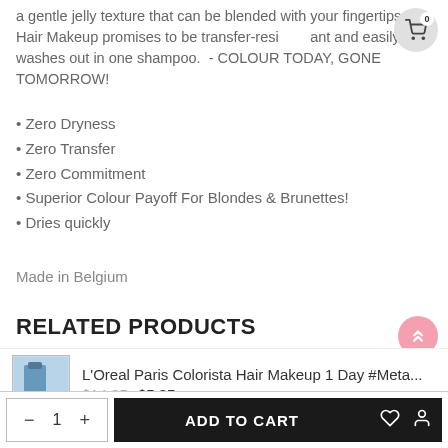a gentle jelly texture that can be blended with your fingertips. Hair Makeup promises to be transfer-resistant and easily washes out in one shampoo. - COLOUR TODAY, GONE TOMORROW!
Zero Dryness
Zero Transfer
Zero Commitment
Superior Colour Payoff For Blondes & Brunettes!
Dries quickly
Made in Belgium
RELATED PRODUCTS
L'Oreal Paris Colorista Hair Makeup 1 Day #Meta...
$14.95  $5.95